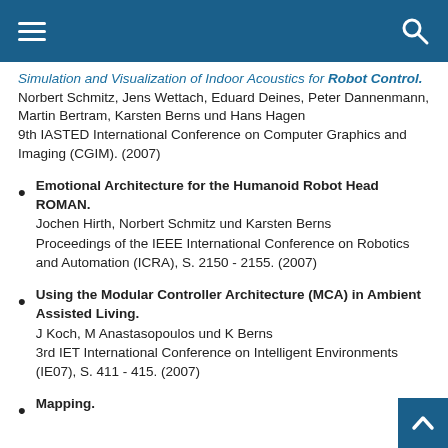Simulation and Visualization of Indoor Acoustics for Robot Control.
Norbert Schmitz, Jens Wettach, Eduard Deines, Peter Dannenmann, Martin Bertram, Karsten Berns und Hans Hagen
9th IASTED International Conference on Computer Graphics and Imaging (CGIM). (2007)
Emotional Architecture for the Humanoid Robot Head ROMAN.
Jochen Hirth, Norbert Schmitz und Karsten Berns
Proceedings of the IEEE International Conference on Robotics and Automation (ICRA), S. 2150 - 2155. (2007)
Using the Modular Controller Architecture (MCA) in Ambient Assisted Living.
J Koch, M Anastasopoulos und K Berns
3rd IET International Conference on Intelligent Environments (IE07), S. 411 - 415. (2007)
Mapping.